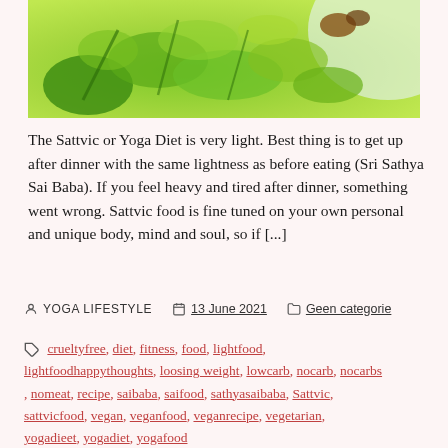[Figure (photo): Close-up photo of a green vegetable salad or stir-fry dish in a white bowl, with bright green leafy vegetables on a light background.]
The Sattvic or Yoga Diet is very light. Best thing is to get up after dinner with the same lightness as before eating (Sri Sathya Sai Baba). If you feel heavy and tired after dinner, something went wrong. Sattvic food is fine tuned on your own personal and unique body, mind and soul, so if [...]
YOGA LIFESTYLE   13 June 2021   Geen categorie
crueltyfree, diet, fitness, food, lightfood, lightfoodhappythoughts, loosing weight, lowcarb, nocarb, nocarbs, nomeat, recipe, saibaba, saifood, sathyasaibaba, Sattvic, sattvicfood, vegan, veganfood, veganrecipe, vegetarian, yogadieet, yogadiet, yogafood